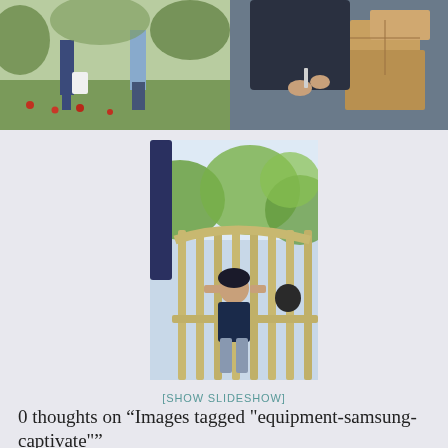[Figure (photo): Top-left photo: people standing in a garden/yard with apples on the ground, one person holding a white bag]
[Figure (photo): Top-right photo: person in dark clothing holding something, cardboard boxes visible in background]
[Figure (photo): Center photo: child standing behind a curved metal railing/cage structure, trees visible in background, shot from below]
[SHOW SLIDESHOW]
0 thoughts on “Images tagged "equipment-samsung-captivate"”